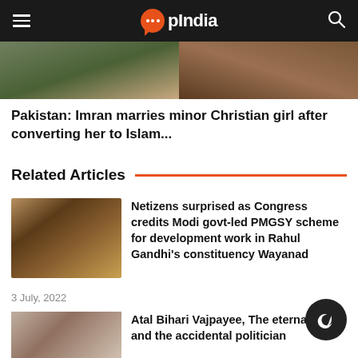OpIndia
[Figure (photo): Hero image split into two halves showing people in a gathering/ceremony]
Pakistan: Imran marries minor Christian girl after converting her to Islam...
Related Articles
[Figure (photo): Thumbnail showing a group of people at what appears to be an inauguration ceremony]
Netizens surprised as Congress credits Modi govt-led PMGSY scheme for development work in Rahul Gandhi's constituency Wayanad
3 July, 2022
[Figure (photo): Thumbnail showing Atal Bihari Vajpayee portrait]
Atal Bihari Vajpayee, The eternal poet and the accidental politician